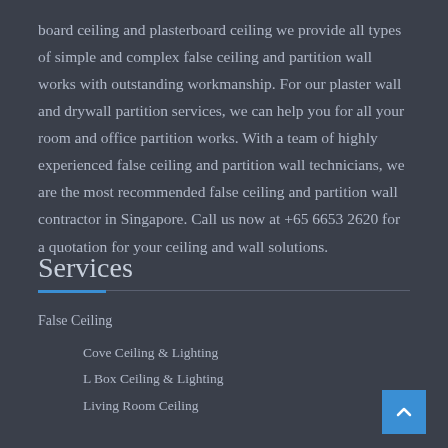board ceiling and plasterboard ceiling we provide all types of simple and complex false ceiling and partition wall works with outstanding workmanship. For our plaster wall and drywall partition services, we can help you for all your room and office partition works. With a team of highly experienced false ceiling and partition wall technicians, we are the most recommended false ceiling and partition wall contractor in Singapore. Call us now at +65 6653 2620 for a quotation for your ceiling and wall solutions.
Services
False Ceiling
Cove Ceiling & Lighting
L Box Ceiling & Lighting
Living Room Ceiling